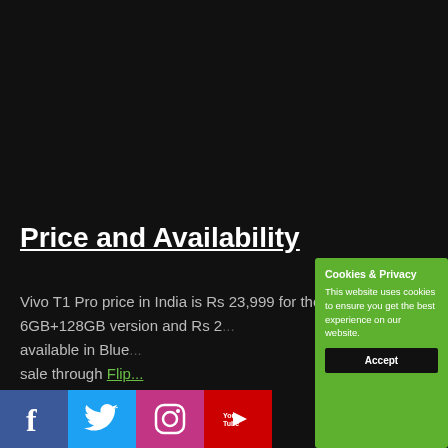Price and Availability
Vivo T1 Pro price in India is Rs 23,999 for the 6GB+128GB version and Rs 2... available in Blue... sale through Flip... Pre-bookings for...
[Figure (screenshot): Cookies & Privacy popup modal with green background. Title: Cookies & Privacy. Body: This website uses cookies to ensure you get the best experience on our website. Button: Accept]
[Figure (illustration): Social media icons row at bottom: Facebook (blue), Twitter (light blue), Instagram (pink/purple), YouTube (red)]